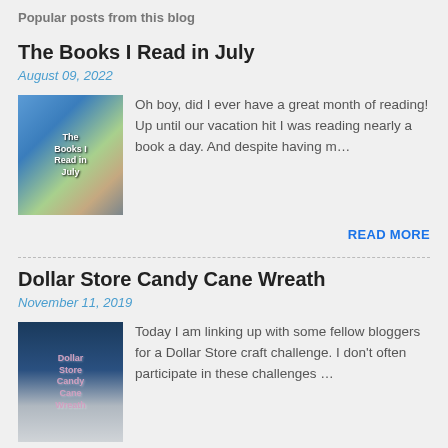Popular posts from this blog
The Books I Read in July
August 09, 2022
[Figure (photo): Thumbnail image for 'The Books I Read in July' blog post showing a collage of book covers]
Oh boy, did I ever have a great month of reading!  Up until our vacation hit I was reading nearly a book a day.  And despite having m…
READ MORE
Dollar Store Candy Cane Wreath
November 11, 2019
[Figure (photo): Thumbnail image for 'Dollar Store Candy Cane Wreath' blog post showing a wreath with blue background]
Today I am linking up with some fellow bloggers for a Dollar Store craft challenge.  I don't often participate in these challenges…